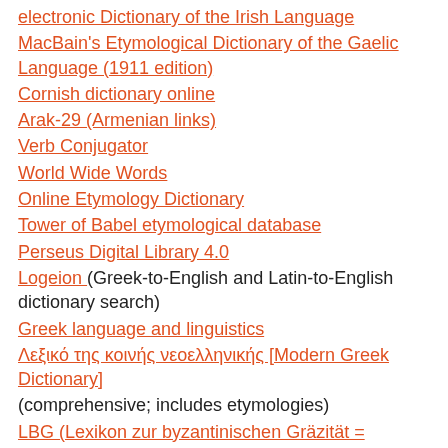electronic Dictionary of the Irish Language
MacBain's Etymological Dictionary of the Gaelic Language (1911 edition)
Cornish dictionary online
Arak-29 (Armenian links)
Verb Conjugator
World Wide Words
Online Etymology Dictionary
Tower of Babel etymological database
Perseus Digital Library 4.0
Logeion (Greek-to-English and Latin-to-English dictionary search)
Greek language and linguistics
Λεξικό της κοινής νεοελληνικής [Modern Greek Dictionary]
(comprehensive; includes etymologies)
LBG (Lexikon zur byzantinischen Gräzität = Lexicon of Byzantine Greek)
Orbis Latinus
Slovopedia (links to Russian dictionaries; sidebar has links to comparable pages for German, Ukrainian, Belorussian, Georgian, and Kazakh)
dic.academic.ru (Russian dictionary search)